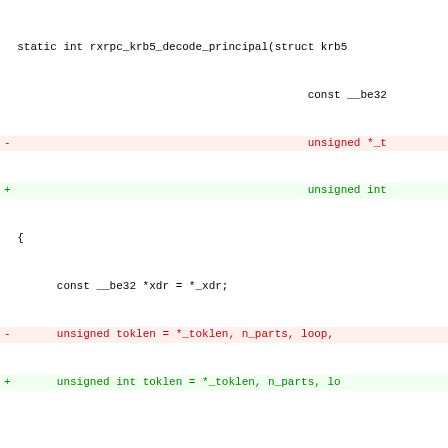static int rxrpc_krb5_decode_principal(struct krb5 const __be32
-                                              unsigned *_t
+                                              unsigned int
  {
        const __be32 *xdr = *_xdr;
-       unsigned toklen = *_toklen, n_parts, loop,
+       unsigned int toklen = *_toklen, n_parts, lo

        /* there must be at least one name, and at
         * words */
@@ -286,10 +286,10 @@ static int rxrpc_krb5_decode_
 static int rxrpc_krb5_decode_tagged_data(struct kr
                                              size_t max
                                              const __be
-                                             unsigned *
+                                             unsigned i
  {
        const __be32 *xdr = *_xdr;
-       unsigned toklen = *_toklen, len;
+       unsigned int toklen = *_toklen, len;

        /* there must be at least one tag and one l
        if (toklen <= 8)
@@ -330,11 +330,11 @@ static int rxrpc_krb5_decode_
                                              u8 max_n_